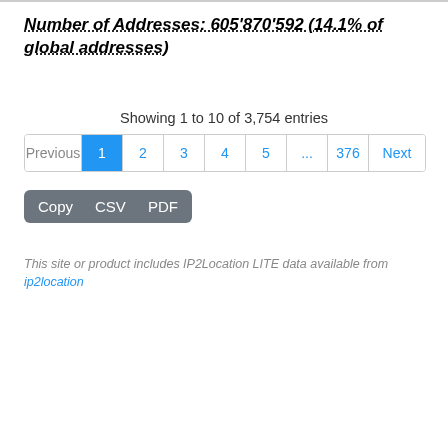Number of Addresses: 605'870'592 (14.1% of global addresses)
Showing 1 to 10 of 3,754 entries
Previous 1 2 3 4 5 ... 376 Next
Copy  CSV  PDF
This site or product includes IP2Location LITE data available from ip2location